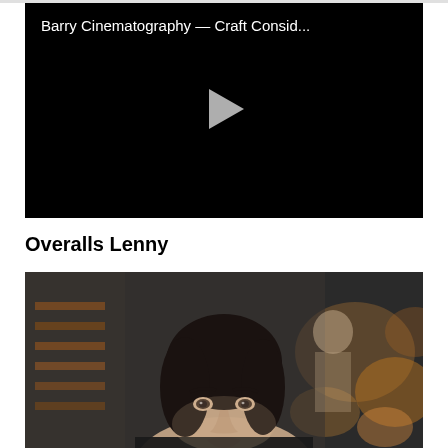[Figure (screenshot): Video thumbnail with black background showing title 'Barry Cinematography — Craft Consid...' in white text at top left, and a light gray play button triangle in the center.]
Overalls Lenny
[Figure (photo): A dark-haired woman in a black top looking directly at camera with a serious expression, in what appears to be a restaurant or bar setting with bokeh lights in background. A male figure is visible out of focus in the background.]